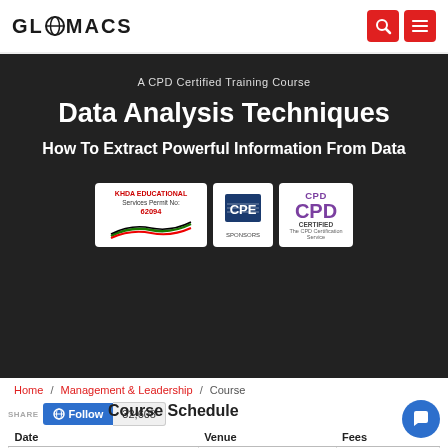GLOMACS
A CPD Certified Training Course
Data Analysis Techniques
How To Extract Powerful Information From Data
[Figure (logo): KHDA Educational Services Permit No: 62094, CPE Sponsors, CPD Certified logos]
Home / Management & Leadership / Course
Follow 32,608
Course Schedule
| Date | Venue | Fees |
| --- | --- | --- |
| 11 – 15 Dec 2023 | Dubai, UAE | £4,950 |